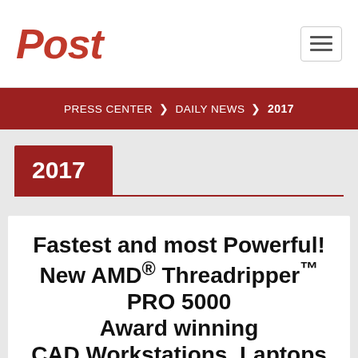Post
PRESS CENTER > DAILY NEWS > 2017
2017
Fastest and most Powerful! New AMD® Threadripper™ PRO 5000 Award winning CAD Workstations, Laptops & HPC based on NVIDIA® RTX &